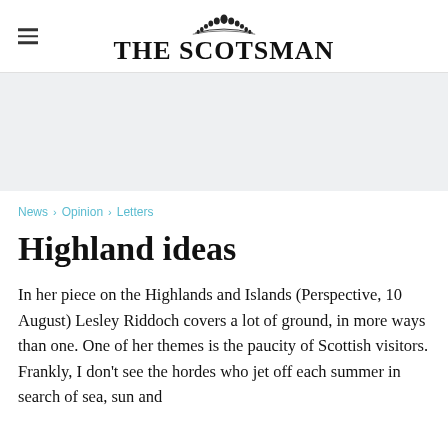THE SCOTSMAN
[Figure (other): Advertisement / grey banner area]
News > Opinion > Letters
Highland ideas
In her piece on the Highlands and Islands (Perspective, 10 August) Lesley Riddoch covers a lot of ground, in more ways than one. One of her themes is the paucity of Scottish visitors. Frankly, I don't see the hordes who jet off each summer in search of sea, sun and